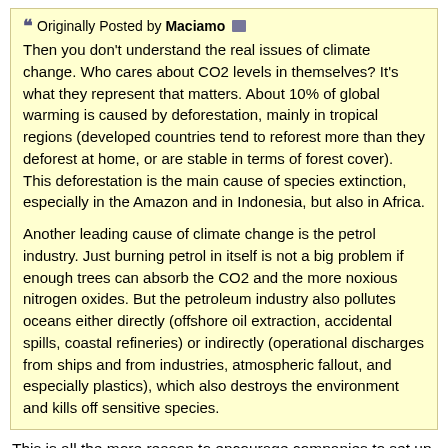Originally Posted by Maciamo
Then you don't understand the real issues of climate change. Who cares about CO2 levels in themselves? It's what they represent that matters. About 10% of global warming is caused by deforestation, mainly in tropical regions (developed countries tend to reforest more than they deforest at home, or are stable in terms of forest cover). This deforestation is the main cause of species extinction, especially in the Amazon and in Indonesia, but also in Africa.

Another leading cause of climate change is the petrol industry. Just burning petrol in itself is not a big problem if enough trees can absorb the CO2 and the more noxious nitrogen oxides. But the petroleum industry also pollutes oceans either directly (offshore oil extraction, accidental spills, coastal refineries) or indirectly (operational discharges from ships and from industries, atmospheric fallout, and especially plastics), which also destroys the environment and kills off sensitive species.
This is all the more reason to encourage companies to set up factories in the US; instead of internationally. Too many jungle products are ending up in our supermarkets.